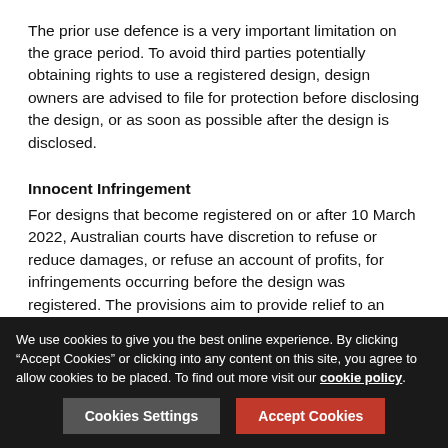The prior use defence is a very important limitation on the grace period. To avoid third parties potentially obtaining rights to use a registered design, design owners are advised to file for protection before disclosing the design, or as soon as possible after the design is disclosed.
Innocent Infringement
For designs that become registered on or after 10 March 2022, Australian courts have discretion to refuse or reduce damages, or refuse an account of profits, for infringements occurring before the design was registered. The provisions aim to provide relief to an “innocent” infringer who infringes a design in the period after an application is filed, but before the design itself is publicly available on the Register of Designs.
To take advantage of the provisions, the “innocent” infringer must satisfy the court that they were not aware, and could not
We use cookies to give you the best online experience. By clicking “Accept Cookies” or clicking into any content on this site, you agree to allow cookies to be placed. To find out more visit our cookie policy.
Cookies Settings
Accept Cookies